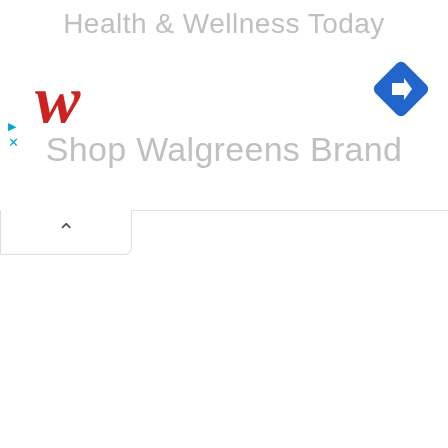Health & Wellness Today
[Figure (logo): Walgreens stylized cursive W logo in red]
[Figure (other): Blue diamond-shaped navigation icon with a white right-turn arrow]
Shop Walgreens Brand
[Figure (other): Collapse/minimize tab with upward chevron arrow]